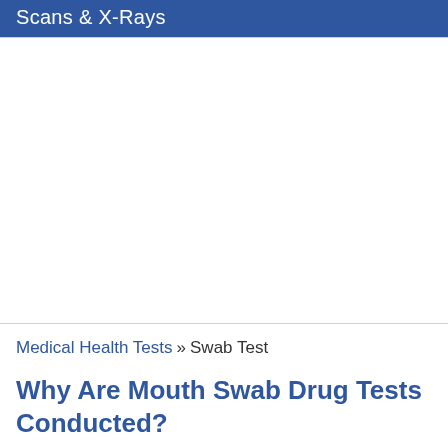Scans & X-Rays
Medical Health Tests » Swab Test
Why Are Mouth Swab Drug Tests Conducted?